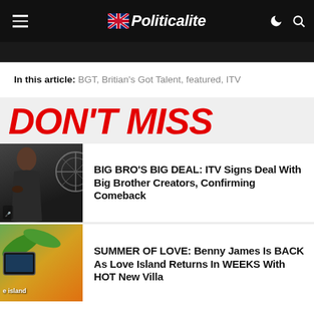Politicalite
In this article: BGT, Britian's Got Talent, featured, ITV
DON'T MISS
[Figure (photo): Thumbnail image of a woman smiling on a game show set]
BIG BRO'S BIG DEAL: ITV Signs Deal With Big Brother Creators, Confirming Comeback
[Figure (photo): Thumbnail image of Love Island villa with tropical setting]
SUMMER OF LOVE: Benny James Is BACK As Love Island Returns In WEEKS With HOT New Villa